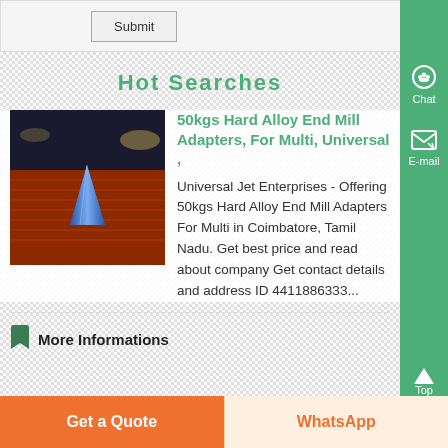Submit
Hot Searches
[Figure (photo): Industrial conveyor or racetrack with blue metallic cone/object in center, stadium lighting in background, red track surface]
50kgs Hard Alloy End Mill Adapters, For Multi, Universal ,
Universal Jet Enterprises - Offering 50kgs Hard Alloy End Mill Adapters For Multi in Coimbatore, Tamil Nadu. Get best price and read about company Get contact details and address ID 4411886333...
More Informations
Get a Quote
WhatsApp